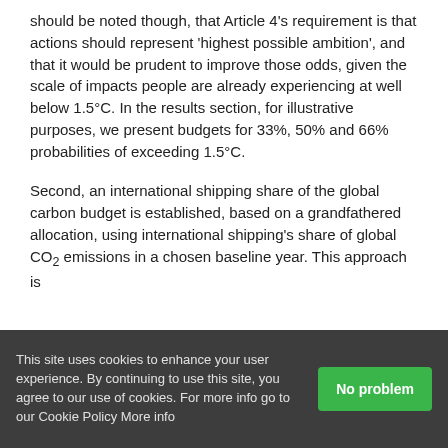should be noted though, that Article 4's requirement is that actions should represent 'highest possible ambition', and that it would be prudent to improve those odds, given the scale of impacts people are already experiencing at well below 1.5°C. In the results section, for illustrative purposes, we present budgets for 33%, 50% and 66% probabilities of exceeding 1.5°C.
Second, an international shipping share of the global carbon budget is established, based on a grandfathered allocation, using international shipping's share of global CO2 emissions in a chosen baseline year. This approach is
This site uses cookies to enhance your user experience. By continuing to use this site, you agree to our use of cookies. For more info go to our Cookie Policy More info